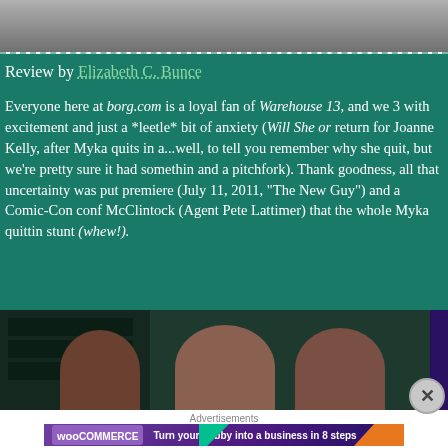[Figure (photo): Photo at the top of the page showing people, partially cropped]
Review by Elizabeth C. Bunce
Everyone here at borg.com is a loyal fan of Warehouse 13, and we 3 with excitement and just a *leetle* bit of anxiety (Will She or return for Joanne Kelly, after Myka quits in a...well, to tell you remember why she quit, but we're pretty sure it had somethin and a pitchfork). Thank goodness, all that uncertainty was put premiere (July 11, 2011, "The New Guy") and a Comic-Con conf McClintock (Agent Pete Lattimer) that the whole Myka quittin stunt (whew!).
[Figure (photo): Photo of people at what appears to be a Comic-Con or similar event]
Advertisements
[Figure (other): WooCommerce advertisement banner: Turn your hobby into a business in 8 steps]